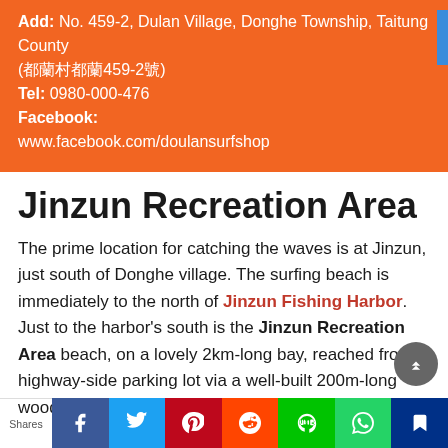Add: No. 459-2, Dulan Village, Donghe Township, Taitung County (都蘭村都蘭459-2號)
Tel: 0980-000-476
Facebook:
www.facebook.com/doulansurfshop
Jinzun Recreation Area
The prime location for catching the waves is at Jinzun, just south of Donghe village. The surfing beach is immediately to the north of Jinzun Fishing Harbor. Just to the harbor's south is the Jinzun Recreation Area beach, on a lovely 2km-long bay, reached from a highway-side parking lot via a well-built 200m-long wood staircase. The steps take you down through tree
Shares  [Facebook] [Twitter] [Pinterest] [Reddit] [Line] [WhatsApp] [Bookmark]